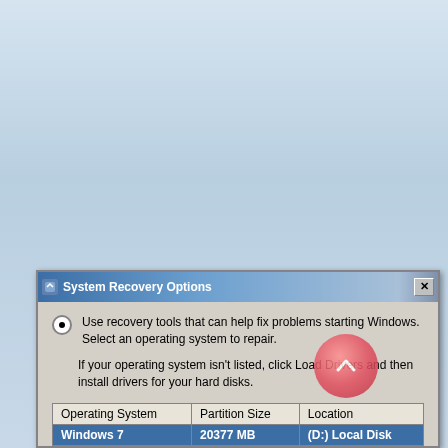[Figure (screenshot): Windows desktop background with light blue gradient]
[Figure (screenshot): System Recovery Options dialog box showing radio button option to use recovery tools, text about operating system repair, and a table listing Windows 7 with 20377 MB partition size on (D:) Local Disk. A red circular scroll button UI element overlaps the dialog.]